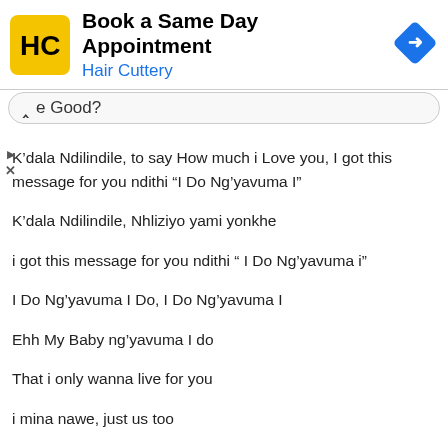[Figure (infographic): Hair Cuttery advertisement banner with logo (HC yellow square), text 'Book a Same Day Appointment' and 'Hair Cuttery' in blue, and a blue diamond navigation arrow icon on the right.]
e Good?
K’dala Ndilindile, to say How much i Love you, I got this message for you ndithi “I Do Ng’yavuma I”
K’dala Ndilindile, Nhliziyo yami yonkhe
i got this message for you ndithi “ I Do Ng’yavuma i”
I Do Ng’yavuma I Do, I Do Ng’yavuma I
Ehh My Baby ng’yavuma I do
That i only wanna live for you
i mina nawe, just us too
Ngithandazela kuthi we just stay true
And Kudala i’ve been waiting for this moment

For you to look at me and just own me
remember back when you used to call me
usunami angek usaba lonely